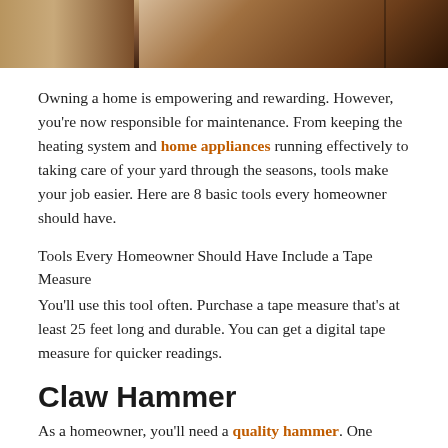[Figure (photo): Close-up photograph of wooden boards/lumber showing wood grain and joints, cropped at the top of the page]
Owning a home is empowering and rewarding. However, you're now responsible for maintenance. From keeping the heating system and home appliances running effectively to taking care of your yard through the seasons, tools make your job easier. Here are 8 basic tools every homeowner should have.
Tools Every Homeowner Should Have Include a Tape Measure
You'll use this tool often. Purchase a tape measure that's at least 25 feet long and durable. You can get a digital tape measure for quicker readings.
Claw Hammer
As a homeowner, you'll need a quality hammer. One